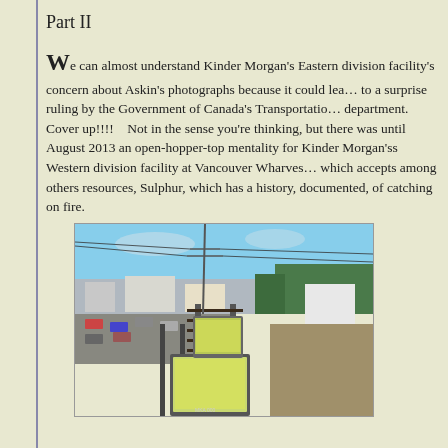Part II
We can almost understand Kinder Morgan's Eastern division facility's concern about Askin's photographs because it could lead to a surprise ruling by the Government of Canada's Transportation department.  Cover up!!!!   Not in the sense you're thinking, but there was until August 2013 an open-hopper-top mentality for Kinder Morgan'ss Western division facility at Vancouver Wharves, which accepts among others resources, Sulphur, which has a history, documented, of catching on fire.
[Figure (photo): Aerial/elevated view of open-top hopper rail cars loaded with yellow sulphur on railway tracks, with urban industrial area and trees visible in the background under a blue sky.]